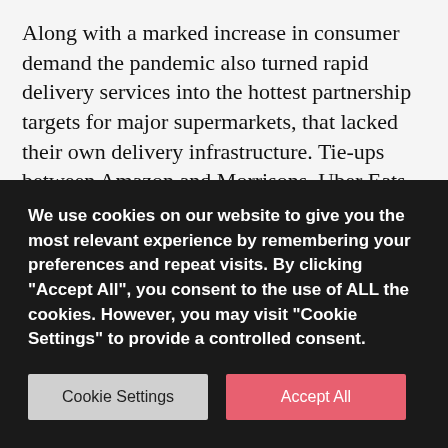Along with a marked increase in consumer demand the pandemic also turned rapid delivery services into the hottest partnership targets for major supermarkets, that lacked their own delivery infrastructure. Tie-ups between Amazon and Morrisons, Uber Eats and Asda, and Deliveroo and Sainsbury's are just a few to have been announced during lockdown. These partnerships only further accelerated the growth and success of rapid delivery services.
But that was then. Today the market has a different look to it. The competition for the the delivery customer and...
We use cookies on our website to give you the most relevant experience by remembering your preferences and repeat visits. By clicking "Accept All", you consent to the use of ALL the cookies. However, you may visit "Cookie Settings" to provide a controlled consent.